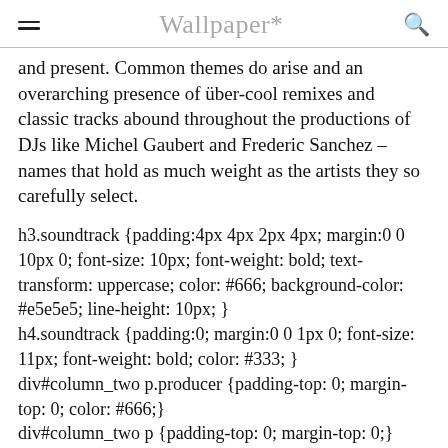Wallpaper*
and present. Common themes do arise and an overarching presence of über-cool remixes and classic tracks abound throughout the productions of DJs like Michel Gaubert and Frederic Sanchez – names that hold as much weight as the artists they so carefully select.
h3.soundtrack {padding:4px 4px 2px 4px; margin:0 0 10px 0; font-size: 10px; font-weight: bold; text-transform: uppercase; color: #666; background-color: #e5e5e5; line-height: 10px; }
h4.soundtrack {padding:0; margin:0 0 1px 0; font-size: 11px; font-weight: bold; color: #333; }
div#column_two p.producer {padding-top: 0; margin-top: 0; color: #666;}
div#column_two p {padding-top: 0; margin-top: 0;}
div#column_two { padding-top: 0; margin-top: 0; positio